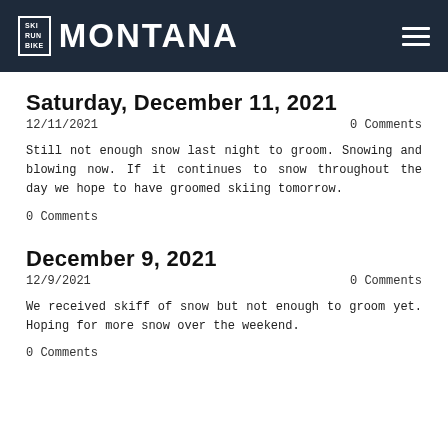SKI RUN BIKE MONTANA
Saturday, December 11, 2021
12/11/2021   0 Comments
Still not enough snow last night to groom. Snowing and blowing now. If it continues to snow throughout the day we hope to have groomed skiing tomorrow.
0 Comments
December 9, 2021
12/9/2021   0 Comments
We received skiff of snow but not enough to groom yet. Hoping for more snow over the weekend.
0 Comments